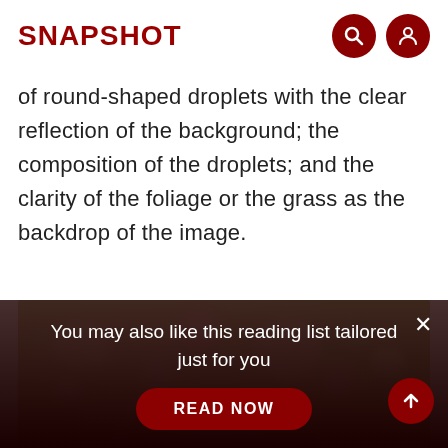SNAPSHOT
of round-shaped droplets with the clear reflection of the background; the composition of the droplets; and the clarity of the foliage or the grass as the backdrop of the image.
[Figure (photo): Blurred bokeh photo of pink flowers and soft green/yellow background with light orbs]
You may also like this reading list tailored just for you
READ NOW